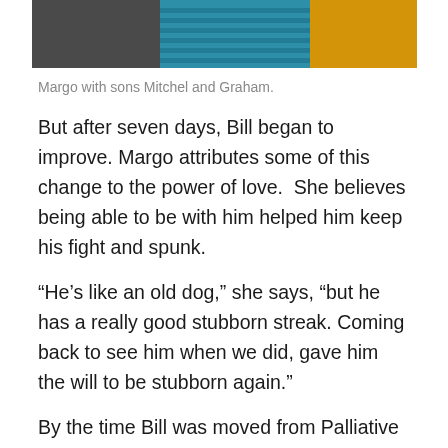[Figure (photo): Photo showing Margo with sons Mitchel and Graham, cropped at top — partial view of three people.]
Margo with sons Mitchel and Graham.
But after seven days, Bill began to improve. Margo attributes some of this change to the power of love.  She believes being able to be with him helped him keep his fight and spunk.
“He’s like an old dog,” she says, “but he has a really good stubborn streak. Coming back to see him when we did, gave him the will to be stubborn again.”
By the time Bill was moved from Palliative Care, COVID-19 visitor restrictions had eased, and Margo and their sons were permitted to continue to visit, while following the support-person and visiting guidelines. He was then moved to North 2A, a transition unit at the Waterford